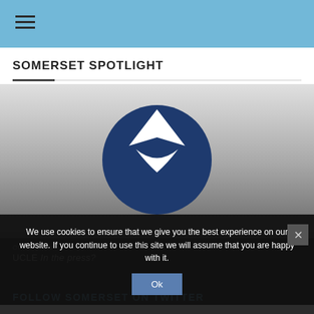☰ (hamburger menu icon)
SOMERSET SPOTLIGHT
[Figure (logo): Circular dark blue logo with a white upward-pointing chevron/diamond shape above a white checkmark or downward arc, on a grey gradient background]
On the press?
UCLE In the press?
We use cookies to ensure that we give you the best experience on our website. If you continue to use this site we will assume that you are happy with it.
Ok
FOLLOW SOMERSET ON TWITTER